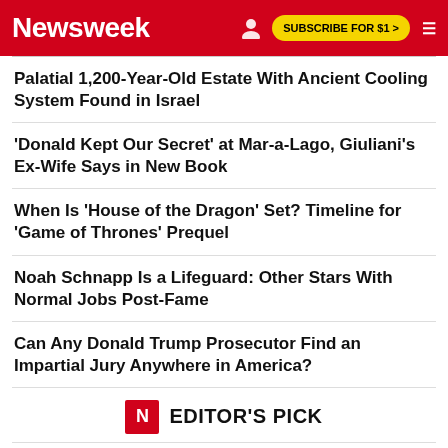Newsweek | SUBSCRIBE FOR $1 >
Palatial 1,200-Year-Old Estate With Ancient Cooling System Found in Israel
'Donald Kept Our Secret' at Mar-a-Lago, Giuliani's Ex-Wife Says in New Book
When Is 'House of the Dragon' Set? Timeline for 'Game of Thrones' Prequel
Noah Schnapp Is a Lifeguard: Other Stars With Normal Jobs Post-Fame
Can Any Donald Trump Prosecutor Find an Impartial Jury Anywhere in America?
EDITOR'S PICK
RUSSIA-UKRAINE WAR